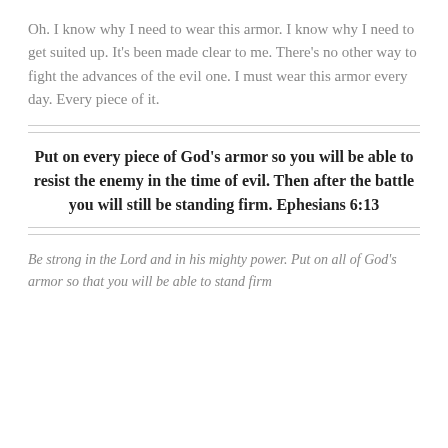Oh. I know why I need to wear this armor. I know why I need to get suited up. It's been made clear to me. There's no other way to fight the advances of the evil one. I must wear this armor every day. Every piece of it.
Put on every piece of God's armor so you will be able to resist the enemy in the time of evil. Then after the battle you will still be standing firm. Ephesians 6:13
Be strong in the Lord and in his mighty power. Put on all of God's armor so that you will be able to stand firm...